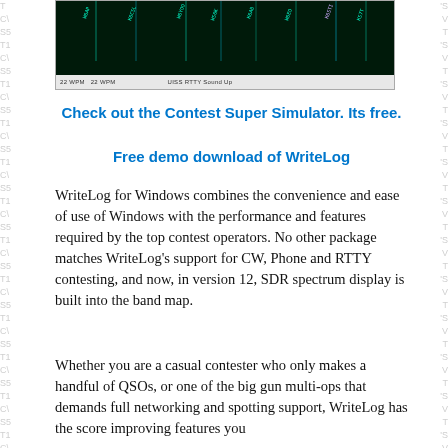[Figure (screenshot): Screenshot of a software application showing RTTY signals on a dark spectrum/waterfall display with green waveform indicators and a light gray status bar at the bottom showing '22 WPM 22 WPM' and 'UISS RTTY Sound Up']
Check out the Contest Super Simulator. Its free.
Free demo download of WriteLog
WriteLog for Windows combines the convenience and ease of use of Windows with the performance and features required by the top contest operators. No other package matches WriteLog's support for CW, Phone and RTTY contesting, and now, in version 12, SDR spectrum display is built into the band map.
Whether you are a casual contester who only makes a handful of QSOs, or one of the big gun multi-ops that demands full networking and spotting support, WriteLog has the score improving features you